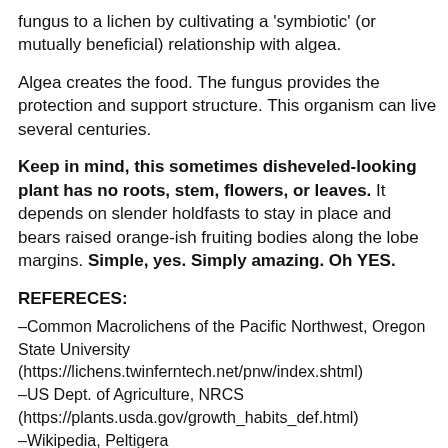fungus to a lichen by cultivating a 'symbiotic' (or mutually beneficial) relationship with algea.
Algea creates the food. The fungus provides the protection and support structure. This organism can live several centuries.
Keep in mind, this sometimes disheveled-looking plant has no roots, stem, flowers, or leaves. It depends on slender holdfasts to stay in place and bears raised orange-ish fruiting bodies along the lobe margins. Simple, yes. Simply amazing. Oh YES.
REFERECES:
–Common Macrolichens of the Pacific Northwest, Oregon State University (https://lichens.twinferntech.net/pnw/index.shtml)
–US Dept. of Agriculture, NRCS (https://plants.usda.gov/growth_habits_def.html)
–Wikipedia, Peltigera (https://en.wikipedia.org/wiki/Peltigera
–USDI, Bureau of Land Management, Survey and